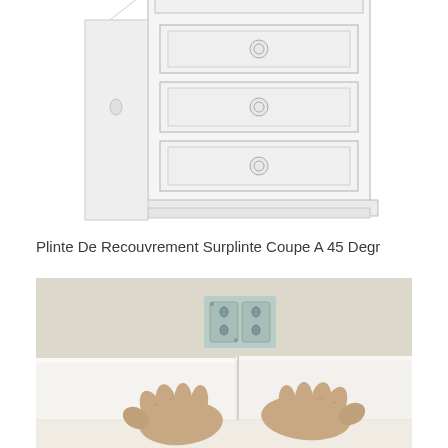[Figure (illustration): Line drawing illustration of a white dresser or cabinet with drawers, showing furniture with circular drawer pulls, partially cropped at top]
Plinte De Recouvrement Surplinte Coupe A 45 Degr
[Figure (photo): Photograph of a person's hands installing white baseboard/skirting board against a wall, with electrical outlets visible in the background on a beige wall]